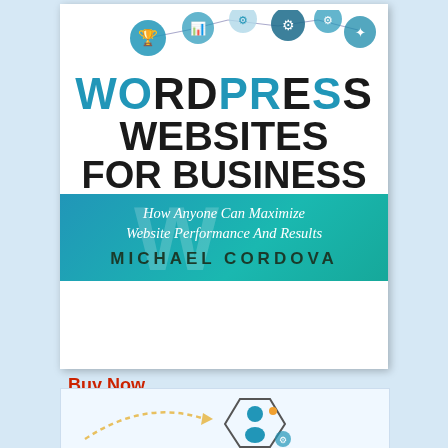[Figure (illustration): Book cover for 'WordPress Websites For Business' by Michael Cordova. White top section with tech/gear icons connected by lines, large bold title text with 'WO', 'PR', 'S' in teal and rest in black. Teal/cyan banner with italic subtitle 'How Anyone Can Maximize Website Performance And Results' and bold dark author name 'MICHAEL CORDOVA' with large watermark WP logo behind.]
Buy Now
[Figure (illustration): Partial view of infographic showing a person figure inside a hexagon with gear icons, connected by curved arrows — partially cropped at bottom of page.]